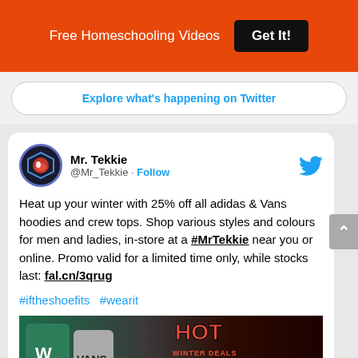Free Homeschooling Videos  Get It!
Explore what's happening on Twitter
Mr. Tekkie @Mr_Tekkie · Follow
Heat up your winter with 25% off all adidas & Vans hoodies and crew tops. Shop various styles and colours for men and ladies, in-store at a #MrTekkie near you or online. Promo valid for a limited time only, while stocks last: fal.cn/3qrug
#iftheshoefits #wearit
[Figure (photo): Promotional image showing two men wearing hoodies (adidas and Vans) with 'HOT WINTER DEALS 25% OFF' text overlay on a dark background]